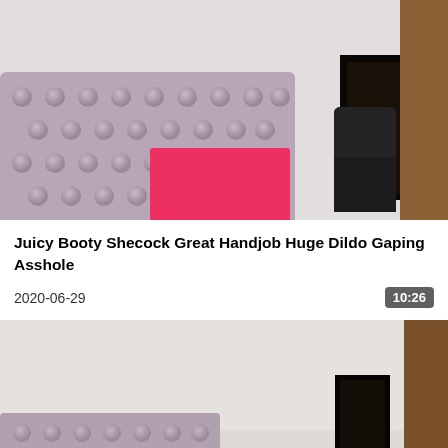[Figure (photo): Bedroom scene with tufted pink/mauve headboard, red/pink pillow, framed mirror on wall, dark chair on right, wooden door on far right. Video thumbnail.]
Juicy Booty Shecock Great Handjob Huge Dildo Gaping Asshole
2020-06-29
10:26
[Figure (photo): Second bedroom scene similar to first, showing wall, partial headboard at bottom, framed mirror and wooden door on right. Video thumbnail cropped/partial.]